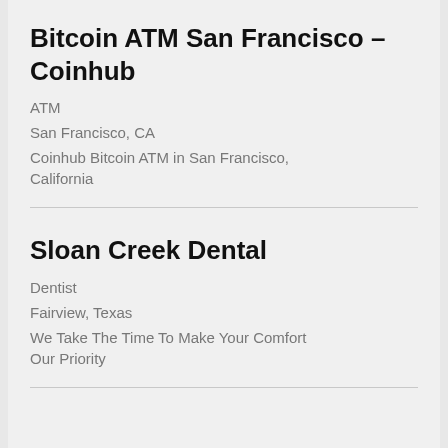Bitcoin ATM San Francisco – Coinhub
ATM
San Francisco, CA
Coinhub Bitcoin ATM in San Francisco, California
Sloan Creek Dental
Dentist
Fairview, Texas
We Take The Time To Make Your Comfort Our Priority